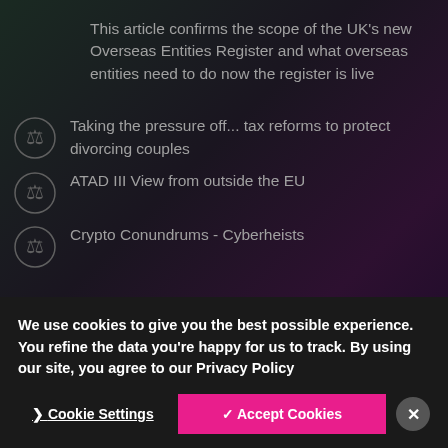This article confirms the scope of the UK's new Overseas Entities Register and what overseas entities need to do now the register is live
Taking the pressure off... tax reforms to protect divorcing couples
ATAD III View from outside the EU
Crypto Conundrums - Cyberheists
We use cookies to give you the best possible experience. You refine the data you're happy for us to track. By using our site, you agree to our Privacy Policy